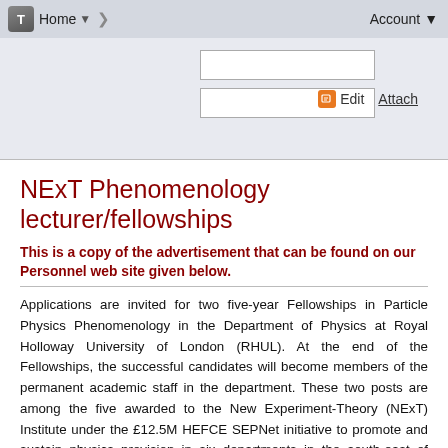Home   Account
NExT Phenomenology lecturer/fellowships
This is a copy of the advertisement that can be found on our Personnel web site given below.
Applications are invited for two five-year Fellowships in Particle Physics Phenomenology in the Department of Physics at Royal Holloway University of London (RHUL). At the end of the Fellowships, the successful candidates will become members of the permanent academic staff in the department. These two posts are among the five awarded to the New Experiment-Theory (NExT) Institute under the £12.5M HEFCE SEPNet initiative to promote and sustain physics provision in six departments in the south-east of England. Approximately £1.5M of the award is to support the NExT Institute, with an additional major contribution from the UK's Science and